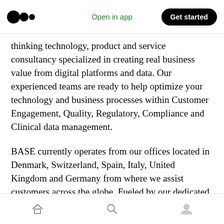Open in app | Get started
thinking technology, product and service consultancy specialized in creating real business value from digital platforms and data. Our experienced teams are ready to help optimize your technology and business processes within Customer Engagement, Quality, Regulatory, Compliance and Clinical data management.
BASE currently operates from our offices located in Denmark, Switzerland, Spain, Italy, United Kingdom and Germany from where we assist customers across the globe. Fueled by our dedicated teams' hardwork and efforts, BASE
Home | Search | Profile